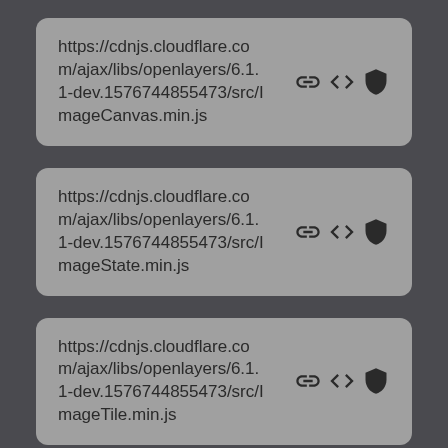https://cdnjs.cloudflare.com/ajax/libs/openlayers/6.1.1-dev.1576744855473/src/ImageCanvas.min.js
https://cdnjs.cloudflare.com/ajax/libs/openlayers/6.1.1-dev.1576744855473/src/ImageState.min.js
https://cdnjs.cloudflare.com/ajax/libs/openlayers/6.1.1-dev.1576744855473/src/ImageTile.min.js
https://cdnjs.cloudflare.com/ajax